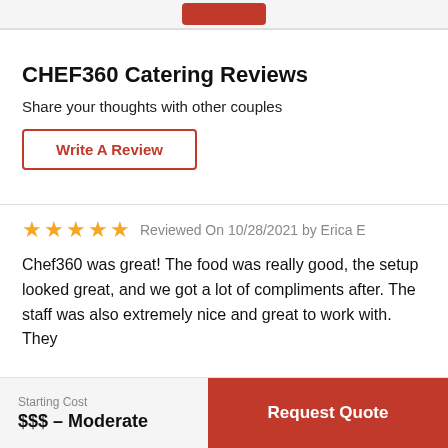CHEF360 Catering Reviews
Share your thoughts with other couples
Write A Review
Reviewed On 10/28/2021 by Erica E
Chef360 was great! The food was really good, the setup looked great, and we got a lot of compliments after. The staff was also extremely nice and great to work with. They
Starting Cost
$$$ – Moderate
Request Quote